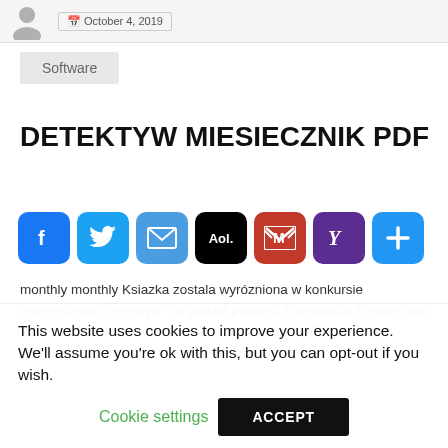Software
DETEKTYW MIESIECZNIK PDF
[Figure (other): Row of social share icons: Facebook, Twitter, Email, AOL, Gmail, Yahoo, and a plus/more button]
monthly monthly Ksiazka zostala wyrózniona w konkursie miesiecznika "Detektyw" na polska powiesc kryminalna. Please note: This audiobook is in Polish. © Izabela. dylematy FIFA detektyw [/url]… [url= /lumieszczamy miesiecznik matlandia
This website uses cookies to improve your experience. We'll assume you're ok with this, but you can opt-out if you wish.
Cookie settings   ACCEPT